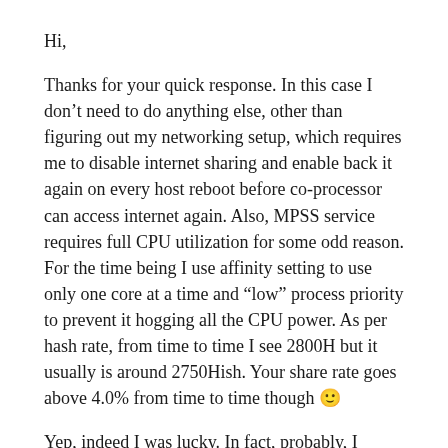Hi,
Thanks for your quick response. In this case I don't need to do anything else, other than figuring out my networking setup, which requires me to disable internet sharing and enable back it again on every host reboot before co-processor can access internet again. Also, MPSS service requires full CPU utilization for some odd reason. For the time being I use affinity setting to use only one core at a time and “low” process priority to prevent it hogging all the CPU power. As per hash rate, from time to time I see 2800H but it usually is around 2750Hish. Your share rate goes above 4.0% from time to time though 🙂
Yep, indeed I was lucky. In fact, probably, I